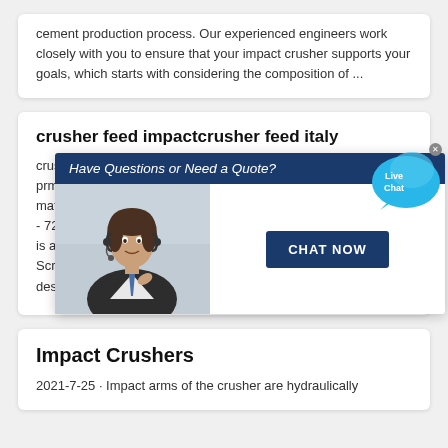cement production process. Our experienced engineers work closely with you to ensure that your impact crusher supports your goals, which starts with considering the composition of ...
crusher feed impactcrusher feed italy
crusher feed ... crush prm Minera ... feed material and ... es of 110 t/h - 720 t/h are ... pact tools is a standar ... sionscreen Screening and Crushing ... The 1012T Impact Crusher is designed to accept a Large Feed Size while also ...
[Figure (screenshot): Popup overlay: 'Have Questions or Need a Quote?' with a customer service representative image and a 'CHAT NOW' button, plus a Live Chat bubble in the top-right corner.]
Impact Crushers
2021-7-25 · Impact arms of the crusher are hydraulically